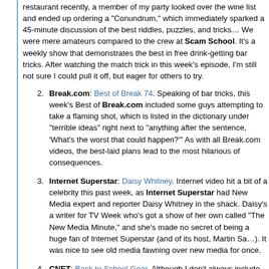restaurant recently, a member of my party looked over the wine list and ended up ordering a "Conundrum," which immediately sparked a 45-minute discussion of the best riddles, puzzles, and tricks… We were mere amateurs compared to the crew at Scam School. It's a weekly show that demonstrates the best in free drink-getting bar tricks. After watching the match trick in this week's episode, I'm still not sure I could pull it off, but eager for others to try.
Break.com: Best of Break 74. Speaking of bar tricks, this week's Best of Break.com included some guys attempting to take a flaming shot, which is listed in the dictionary under "terrible ideas" right next to "anything after the sentence, 'What's the worst that could happen?'" As with all Break.com videos, the best-laid plans lead to the most hilarious of consequences.
Internet Superstar: Daisy Whitney. Internet video hit a bit of a celebrity this past week, as Internet Superstar had New Media expert and reporter Daisy Whitney in the shack. Daisy's a writer for TV Week who's got a show of her own called "The New Media Minute," and she's made no secret of being a huge fan of Internet Superstar (and of its host, Martin Sa…). It was nice to see old media fawning over new media for once.
CNET: Back to School Gear. Although I don't always include CNET in the Top 5, it's easily one of my favorite shows each and every week. They've implemented a couple of changes (based on feedback from TiVo viewers) that are worth highlighting. Not only is Molly trying to talk about the price of products they're reviewing each week, but the team is also consistently soliciting feedback from the TiVo viewers by including an email address each week (tivoreport@cnet.com). It's so great to see viewers g…